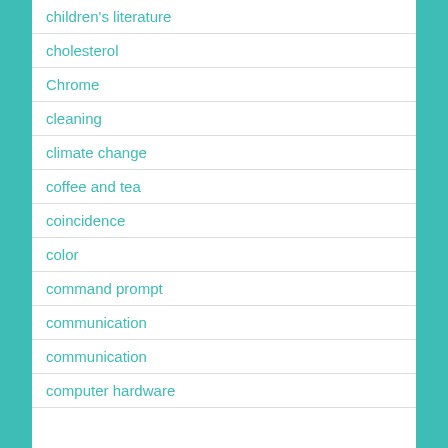children's literature
cholesterol
Chrome
cleaning
climate change
coffee and tea
coincidence
color
command prompt
communication
communication
computer hardware